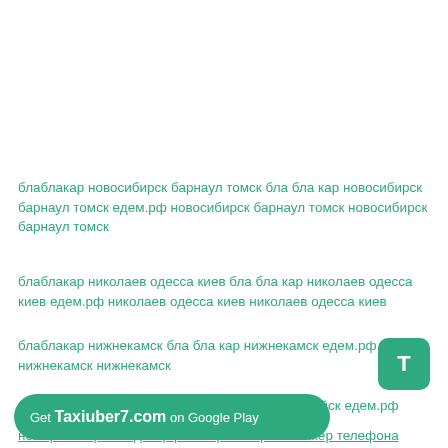блаблакар новосибирск барнаул томск бла бла кар новосибирск барнаул томск едем.рф новосибирск барнаул томск новосибирск барнаул томск
блаблакар николаев одесса киев бла бла кар николаев одесса киев едем.рф николаев одесса киев николаев одесса киев
блаблакар нижнекамск бла бла кар нижнекамск едем.рф нижнекамск нижнекамск
блаблакар новороссийск бла бла кар новороссийск едем.рф новороссийск новороссийск
номер телефона едем.рф номер телефона номер телефона номер телефона
[Figure (other): Green 'T' button overlay in bottom right area]
[Figure (other): Green banner at bottom: 'Get Taxiuber7.com on Google Play']